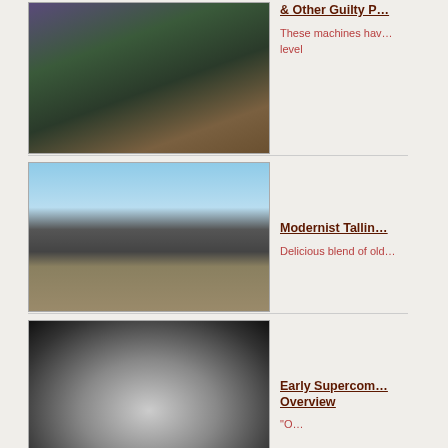[Figure (photo): Row of Japanese arcade gaming pods/machines (egg-shaped chairs) in a game center]
& Other Guilty P…
These machines hav… level
[Figure (photo): Modern angular zinc-clad building extension attached to an old stone building in Tallinn]
Modernist Tallin…
Delicious blend of old…
[Figure (photo): Black and white artistic photo of an early supercomputer with dome structure]
Early Supercom… Overview
"O…